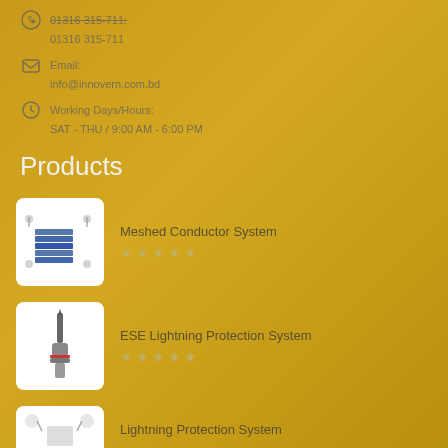01316 315-711
Email:
info@innovern.com.bd
Working Days/Hours:
SAT - THU / 9:00 AM - 6:00 PM
Products
Meshed Conductor System
[Figure (photo): Product thumbnail for Meshed Conductor System showing stacked blue metallic components with technical diagrams]
ESE Lightning Protection System
[Figure (photo): Product thumbnail for ESE Lightning Protection System showing a lightning rod device]
Lightning Protection System
[Figure (photo): Partial product thumbnail for Lightning Protection System]